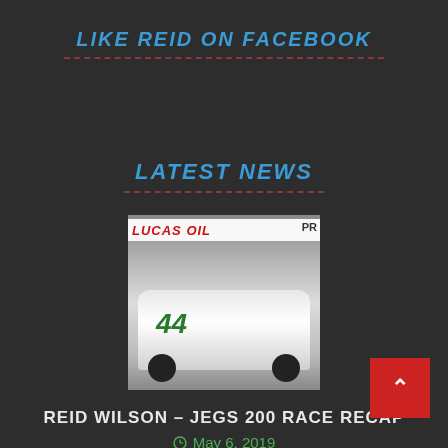LIKE REID ON FACEBOOK
LATEST NEWS
[Figure (photo): Photo of a NASCAR truck #44 with Lucas Oil banner, white and green livery on a race track.]
REID WILSON – JEGS 200 RACE RECAP
May 6, 2019
[Figure (photo): Partial photo of a race vehicle, partially visible at the bottom of the page.]